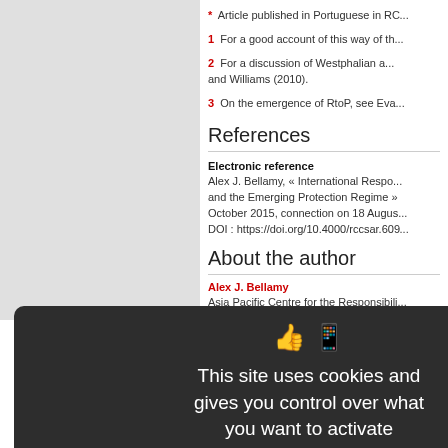* Article published in Portuguese in RC...
1  For a good account of this way of th...
2  For a discussion of Westphalian a... and Williams (2010).
3  On the emergence of RtoP, see Eva...
References
Electronic reference
Alex J. Bellamy, « International Respo... and the Emerging Protection Regime » October 2015, connection on 18 Augus... DOI : https://doi.org/10.4000/rccsar.60...
About the author
Alex J. Bellamy
Asia Pacific Centre for the Responsibili...
[Figure (screenshot): Cookie consent modal dialog with dark background, showing icons, text 'This site uses cookies and gives you control over what you want to activate', three buttons: OK accept all (green), Deny all cookies (dark red), Personalize (white), and a Privacy policy link.]